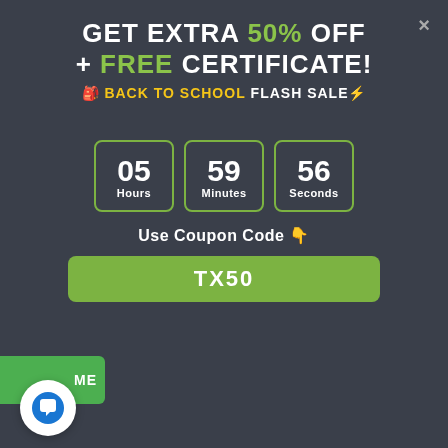GET EXTRA 50% OFF + FREE CERTIFICATE!
🎒 BACK TO SCHOOL FLASH SALE⚡
05 Hours  59 Minutes  56 Seconds
Use Coupon Code 👇
TX50
[Figure (screenshot): Slide showing a globe image on the left and a numbered list with 3 items about European Commission data protection rules on the right.]
ME
RRICULUM